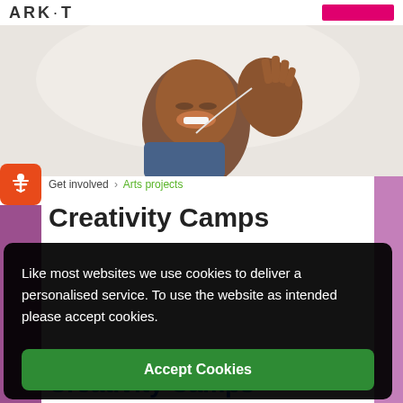ARK·T
[Figure (photo): A smiling child with paint on their hands, holding up their hand near their face, with a light background suggesting an arts activity.]
Get involved  >  Arts projects
Creativity Camps
Like most websites we use cookies to deliver a personalised service. To use the website as intended please accept cookies.
Accept Cookies
Creativity Camps